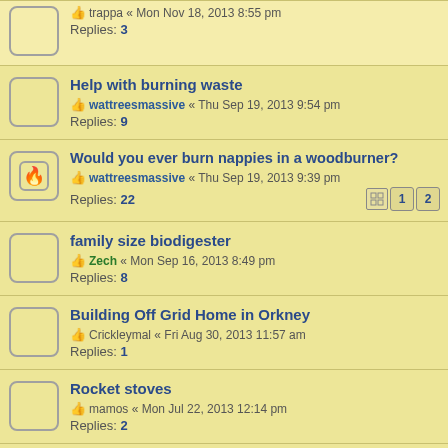trappa « Mon Nov 18, 2013 8:55 pm
Replies: 3
Help with burning waste
wattreesmassive « Thu Sep 19, 2013 9:54 pm
Replies: 9
Would you ever burn nappies in a woodburner?
wattreesmassive « Thu Sep 19, 2013 9:39 pm
Replies: 22
family size biodigester
Zech « Mon Sep 16, 2013 8:49 pm
Replies: 8
Building Off Grid Home in Orkney
Crickleymal « Fri Aug 30, 2013 11:57 am
Replies: 1
Rocket stoves
mamos « Mon Jul 22, 2013 12:14 pm
Replies: 2
thermal store and solar panels
velacreations « Sun Jul 21, 2013 3:46 pm
Replies: 12
Using washing machine parts for a DIY mini...